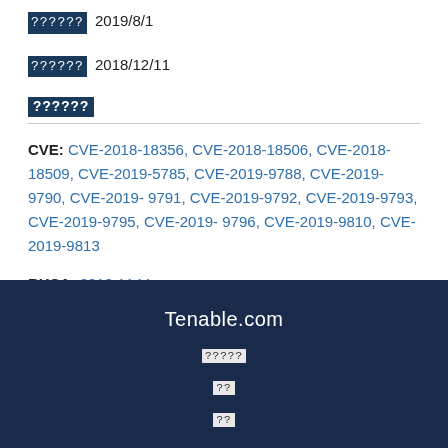??????: 2019/8/1
??????: 2018/12/11
??????
CVE: CVE-2018-18356, CVE-2018-18506, CVE-2018-18509, CVE-2019-5785, CVE-2019-9788, CVE-2019-9790, CVE-2019-9791, CVE-2019-9792, CVE-2019-9793, CVE-2019-9795, CVE-2019-9796, CVE-2019-9810, CVE-2019-9813
RHSA: 2019:1144
Tenable.com